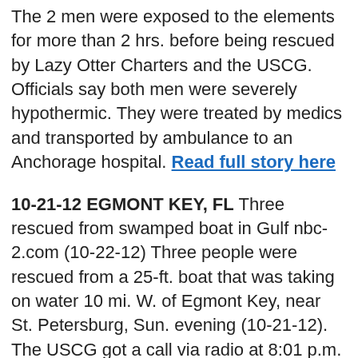The 2 men were exposed to the elements for more than 2 hrs. before being rescued by Lazy Otter Charters and the USCG. Officials say both men were severely hypothermic. They were treated by medics and transported by ambulance to an Anchorage hospital. Read full story here
10-21-12 EGMONT KEY, FL Three rescued from swamped boat in Gulf nbc-2.com (10-22-12) Three people were rescued from a 25-ft. boat that was taking on water 10 mi. W. of Egmont Key, near St. Petersburg, Sun. evening (10-21-12). The USCG got a call via radio at 8:01 p.m. that the occupants of the boat needed help. A CG vessel, FWC boat and a crew from Eckerd Search and Rescue all got to the scene and safely removed all 3 from the stricken boat. No one was injured, and the CG said that the boaters were well-prepared in the event of an emergency. "All